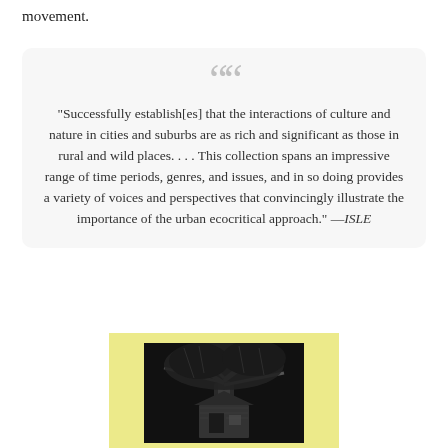movement.
"Successfully establish[es] that the interactions of culture and nature in cities and suburbs are as rich and significant as those in rural and wild places. . . . This collection spans an impressive range of time periods, genres, and issues, and in so doing provides a variety of voices and perspectives that convincingly illustrate the importance of the urban ecocritical approach." —ISLE
[Figure (illustration): Book cover illustration showing a detailed black and white engraving of a tree with architectural/urban elements, displayed against a yellow-green background.]